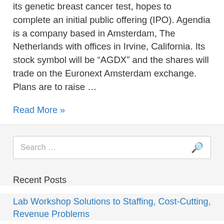its genetic breast cancer test, hopes to complete an initial public offering (IPO). Agendia is a company based in Amsterdam, The Netherlands with offices in Irvine, California. Its stock symbol will be “AGDX” and the shares will trade on the Euronext Amsterdam exchange. Plans are to raise …
Read More »
Search …
Recent Posts
Lab Workshop Solutions to Staffing, Cost-Cutting, Revenue Problems